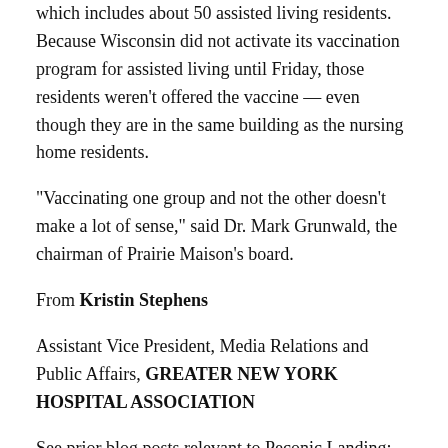which includes about 50 assisted living residents. Because Wisconsin did not activate its vaccination program for assisted living until Friday, those residents weren't offered the vaccine — even though they are in the same building as the nursing home residents.
“Vaccinating one group and not the other doesn’t make a lot of sense,” said Dr. Mark Grunwald, the chairman of Prairie Maison’s board.
From Kristin Stephens
Assistant Vice President, Media Relations and Public Affairs, GREATER NEW YORK HOSPITAL ASSOCIATION
See prior blog posts relevant to Peconic Landing:
https://resistancesuffolk.blog/2020/04/18/no-surprise/